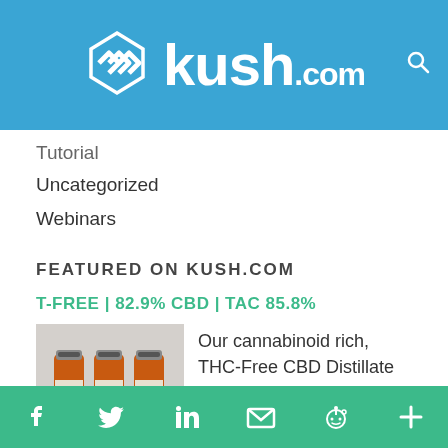[Figure (logo): Kush.com logo with chevron icon on blue banner header]
Tutorial
Uncategorized
Webinars
FEATURED ON KUSH.COM
T-FREE | 82.9% CBD | TAC 85.8%
[Figure (photo): Three amber vials/bottles of CBD distillate on grey background]
Our cannabinoid rich, THC-Free CBD Distillate contains the full host of
VAPE CART DISTILLATE | T-FREE (NDT)
f  twitter  in  email  reddit  +